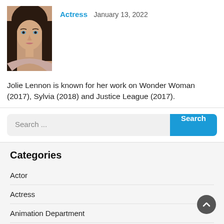[Figure (photo): Headshot photo of actress Jolie Lennon, a woman with long dark brown hair and fair skin, looking at the camera]
Actress  January 13, 2022
Jolie Lennon is known for her work on Wonder Woman (2017), Sylvia (2018) and Justice League (2017).
Search ...
Categories
Actor
Actress
Animation Department
Art Department